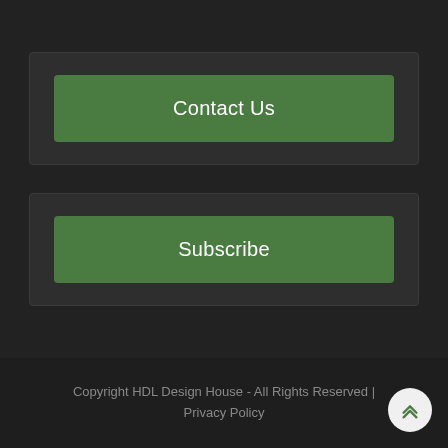Contact Us
Subscribe
Copyright HDL Design House - All Rights Reserved | Privacy Policy